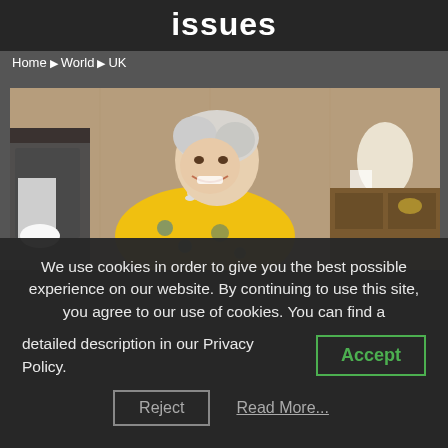issues
Home ▶ World ▶ UK
[Figure (photo): Elderly woman in yellow floral dress laughing, seated in an ornate room with wooden paneling, fireplace, and antique furniture. A person in white gloves is partially visible to the left.]
We use cookies in order to give you the best possible experience on our website. By continuing to use this site, you agree to our use of cookies. You can find a detailed description in our Privacy Policy.
Accept
Reject
Read More...